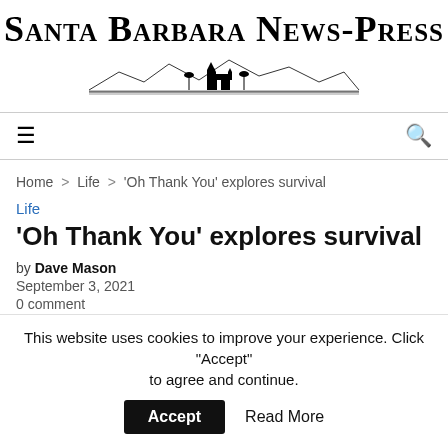SANTA BARBARA NEWS-PRESS
Home > Life > 'Oh Thank You' explores survival
Life
'Oh Thank You' explores survival
by Dave Mason
September 3, 2021
0 comment
This website uses cookies to improve your experience. Click "Accept" to agree and continue.  Accept  Read More